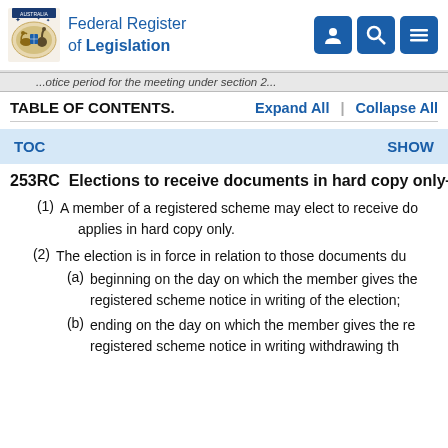Federal Register of Legislation
...notice period for the meeting under section 2...
TABLE OF CONTENTS.    Expand All  |  Collapse All
TOC    SHOW
253RC  Elections to receive documents in hard copy only—
(1)  A member of a registered scheme may elect to receive documents that this Part applies in hard copy only.
(2)  The election is in force in relation to those documents du
(a)  beginning on the day on which the member gives the registered scheme notice in writing of the election;
(b)  ending on the day on which the member gives the registered scheme notice in writing withdrawing th